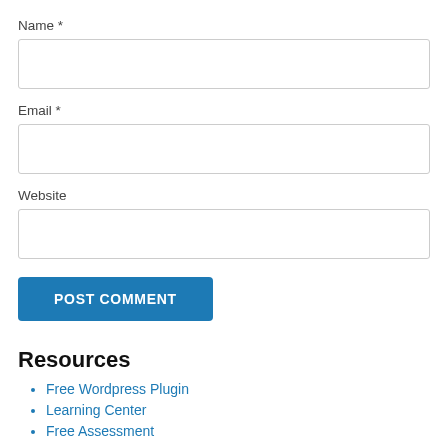Name *
Email *
Website
POST COMMENT
Resources
Free Wordpress Plugin
Learning Center
Free Assessment
LEARN. GROW. CONNECT.